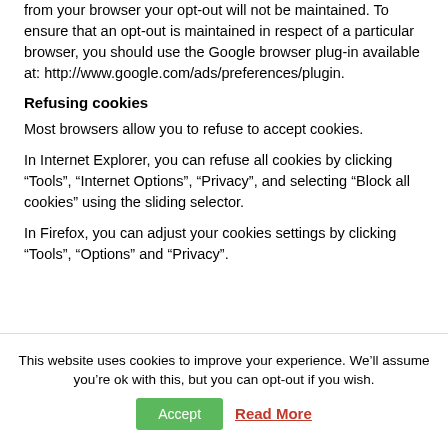from your browser your opt-out will not be maintained. To ensure that an opt-out is maintained in respect of a particular browser, you should use the Google browser plug-in available at: http://www.google.com/ads/preferences/plugin.
Refusing cookies
Most browsers allow you to refuse to accept cookies.
In Internet Explorer, you can refuse all cookies by clicking “Tools”, “Internet Options”, “Privacy”, and selecting “Block all cookies” using the sliding selector.
In Firefox, you can adjust your cookies settings by clicking “Tools”, “Options” and “Privacy”.
This website uses cookies to improve your experience. We’ll assume you’re ok with this, but you can opt-out if you wish.